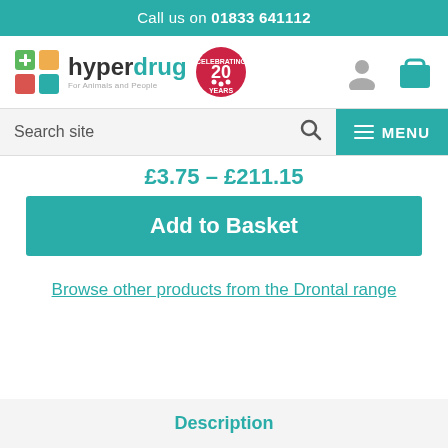Call us on 01833 641112
[Figure (logo): Hyperdrug logo with coloured cross icon and 'For Animals and People' tagline, plus Celebrating 20 Years badge, user icon and basket icon]
Search site
MENU
£3.75 - £211.15
Add to Basket
Browse other products from the Drontal range
Description